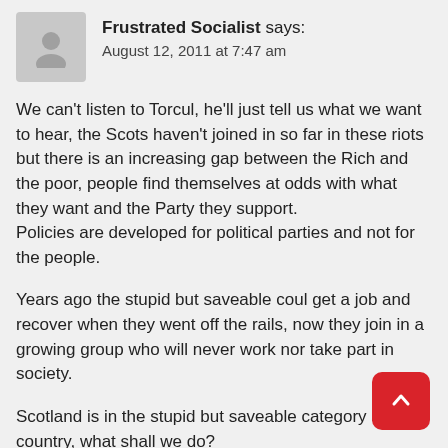Frustrated Socialist says: August 12, 2011 at 7:47 am
We can't listen to Torcul, he'll just tell us what we want to hear, the Scots haven't joined in so far in these riots but there is an increasing gap between the Rich and the poor, people find themselves at odds with what they want and the Party they support.
Policies are developed for political parties and not for the people.
Years ago the stupid but saveable coul get a job and recover when they went off the rails, now they join in a growing group who will never work nor take part in society.
Scotland is in the stupid but saveable category as a country, what shall we do?